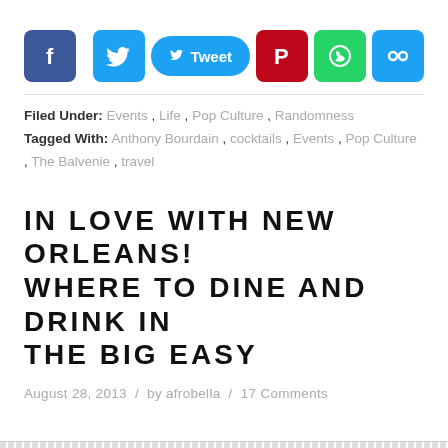[Figure (other): Social sharing buttons: Facebook (blue square), Twitter bird icon, Tweet button (blue pill), Pinterest (red square), WhatsApp (green square), Link/share (blue square)]
Filed Under: Events, Life, Pop Culture, Randomness
Tagged With: Anthony Bourdain, cocktails, Events, Pop Culture, The Balvenie, travel
IN LOVE WITH NEW ORLEANS! WHERE TO DINE AND DRINK IN THE BIG EASY
August 28, 2013 / by afrobella / 17 Comments